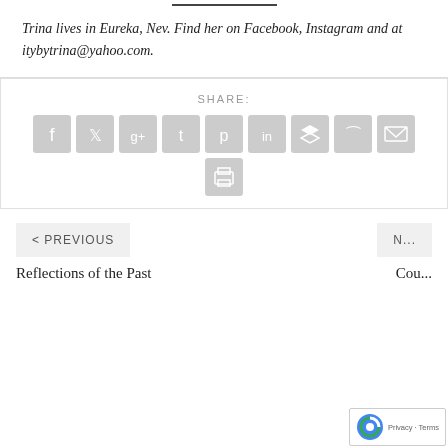Trina lives in Eureka, Nev. Find her on Facebook, Instagram and at itybytrina@yahoo.com.
[Figure (infographic): SHARE section with social media icon buttons: Facebook, Twitter, Google+, Tumblr, Pinterest, LinkedIn, Buffer, StumbleUpon, Email, and Print]
< PREVIOUS
N NEXT
Reflections of the Past
Cou...